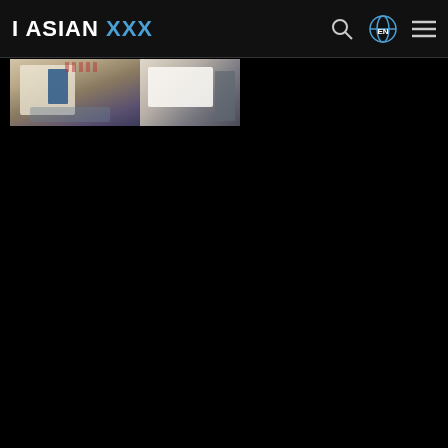I ASIAN XXX
[Figure (screenshot): Website screenshot showing 'I ASIAN XXX' header with search icon, language selector (EN), and hamburger menu on dark background, with a partial thumbnail image strip below]